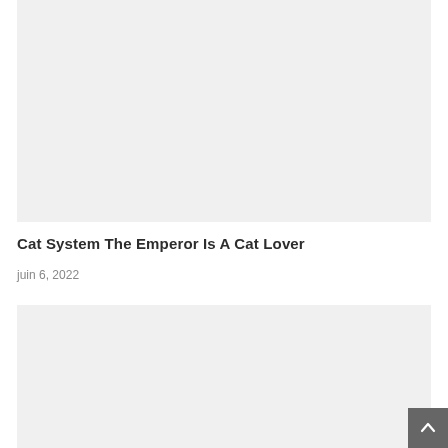[Figure (photo): Top image placeholder with light gray background]
Cat System The Emperor Is A Cat Lover
juin 6, 2022
[Figure (photo): Bottom image placeholder with light gray background]